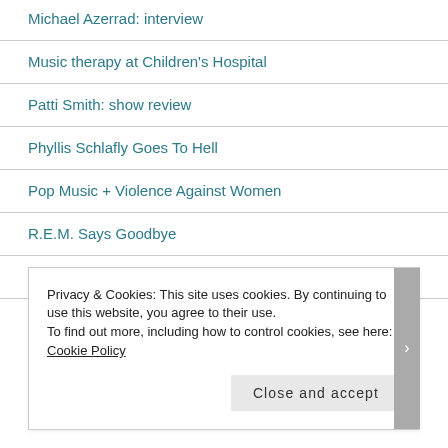Michael Azerrad: interview
Music therapy at Children's Hospital
Patti Smith: show review
Phyllis Schlafly Goes To Hell
Pop Music + Violence Against Women
R.E.M. Says Goodbye
Red Hot Chili Peppers: You Don't Like It
Remembering Bob Reuter: STL Speaks
Privacy & Cookies: This site uses cookies. By continuing to use this website, you agree to their use.
To find out more, including how to control cookies, see here: Cookie Policy
Close and accept